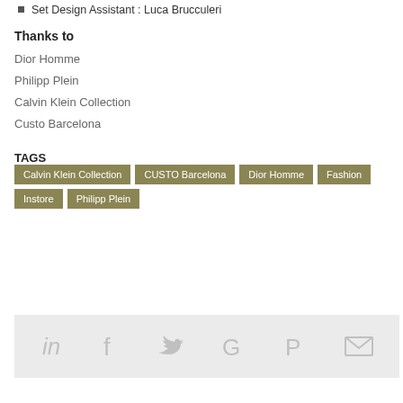Set Design Assistant : Luca Brucculeri
Thanks to
Dior Homme
Philipp Plein
Calvin Klein Collection
Custo Barcelona
TAGS  Calvin Klein Collection  CUSTO Barcelona  Dior Homme  Fashion  Instore  Philipp Plein
[Figure (other): Social sharing icons: LinkedIn, Facebook, Twitter, Google+, Pinterest, Email]